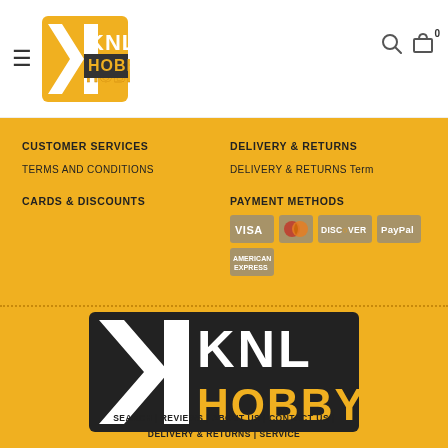KNL Hobby header with logo, hamburger menu, search icon, and cart (0)
CUSTOMER SERVICES
TERMS AND CONDITIONS
DELIVERY & RETURNS
DELIVERY & RETURNS Term
CARDS & DISCOUNTS
PAYMENT METHODS
[Figure (logo): Payment method icons: VISA, Mastercard, DISCOVER, PayPal, American Express]
[Figure (logo): KNL Hobby large logo in black and yellow]
SEARCH | REVIEWS | ABOUT US | CONTACT US | DELIVERY & RETURNS | SERVICE